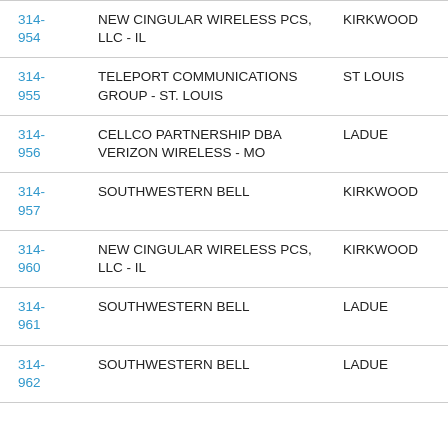| Number | Carrier | City |
| --- | --- | --- |
| 314-954 | NEW CINGULAR WIRELESS PCS, LLC - IL | KIRKWOOD |
| 314-955 | TELEPORT COMMUNICATIONS GROUP - ST. LOUIS | ST LOUIS |
| 314-956 | CELLCO PARTNERSHIP DBA VERIZON WIRELESS - MO | LADUE |
| 314-957 | SOUTHWESTERN BELL | KIRKWOOD |
| 314-960 | NEW CINGULAR WIRELESS PCS, LLC - IL | KIRKWOOD |
| 314-961 | SOUTHWESTERN BELL | LADUE |
| 314-962 | SOUTHWESTERN BELL | LADUE |